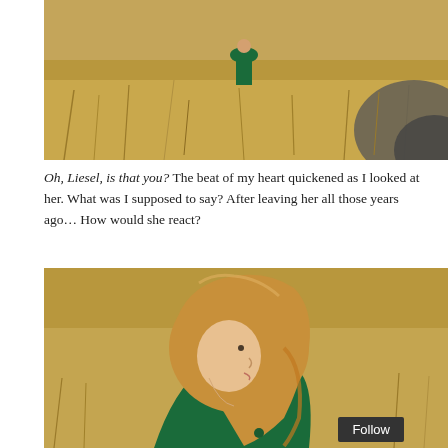[Figure (photo): A doll in a green outfit standing in a dry grassy field, viewed from a distance with a blurred dark shape in the foreground right]
Oh, Liesel, is that you? The beat of my heart quickened as I looked at her. What was I supposed to say? After leaving her all those years ago… How would she react?
[Figure (photo): Close-up profile view of a doll with long golden-blonde hair wearing a teal/green outfit, in a dry grassy field]